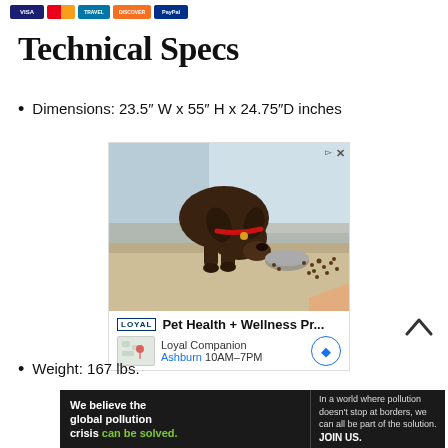[Figure (logo): Payment method icons: Visa, Mastercard, travel card, Discover, PayPal]
Technical Specs
Dimensions: 23.5″ W x 55″ H x 24.75″D inches
[Figure (photo): Advertisement image showing a dark chocolate Labrador puppy eating from a bowl on a hardwood floor. Ad for Loyal Companion Pet Health + Wellness Products, Ashburn location 10AM-7PM.]
Weight: 167 lbs.
[Figure (infographic): Pure Earth advertisement: 'We believe the global pollution crisis can be solved.' with tagline about global pollution not stopping at borders.]